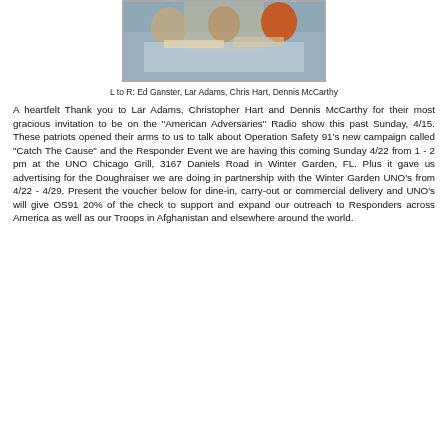[Figure (photo): Photo of four people sitting around a table, working with papers and materials. One person is wearing an orange shirt on the right.]
L to R: Ed Ganster, Lar Adams, Chris Hart, Dennis McCarthy
A heartfelt Thank you to Lar Adams, Christopher Hart and Dennis McCarthy for their most gracious invitation to be on the "American Adversaries" Radio show this past Sunday, 4/15. These patriots opened their arms to us to talk about Operation Safety 91's new campaign called "Catch The Cause" and the Responder Event we are having this coming Sunday 4/22 from 1 - 2 pm at the UNO Chicago Grill, 3167 Daniels Road in Winter Garden, FL. Plus it gave us advertising for the Doughraiser we are doing in partnership with the Winter Garden UNO's from 4/22 - 4/29. Present the voucher below for dine-in, carry-out or commercial delivery and UNO's will give OS91 20% of the check to support and expand our outreach to Responders across America as well as our Troops in Afghanistan and elsewhere around the world.